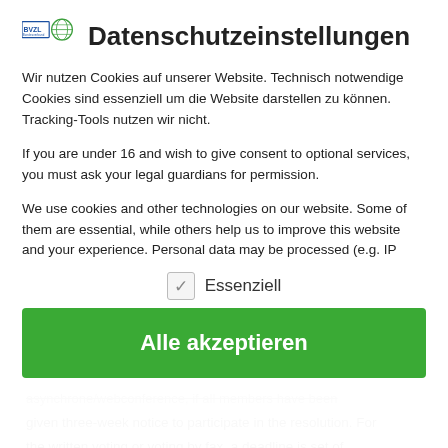Datenschutzeinstellungen
Wir nutzen Cookies auf unserer Website. Technisch notwendige Cookies sind essenziell um die Website darstellen zu können. Tracking-Tools nutzen wir nicht.
If you are under 16 and wish to give consent to optional services, you must ask your legal guardians for permission.
We use cookies and other technologies on our website. Some of them are essential, while others help us to improve this website and your experience. Personal data may be processed (e.g. IP addresses), for example for personalized ads and content or ad and content measurement. You can find more information about the use of your data in our privacy policy. You can revoke or adjust
✓ Essenziell
Alle akzeptieren
asynchrone/webconference, if all members have been given three-week notice to participate in the resolution. For the written voting or voting by fax, a deadline is set of